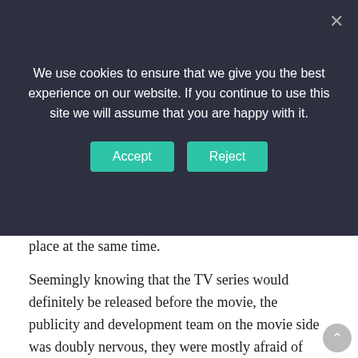[Figure (screenshot): Cookie consent banner with dark background, Accept and Reject buttons in teal, and a close X button]
place at the same time.
Seemingly knowing that the TV series would definitely be released before the movie, the publicity and development team on the movie side was doubly nervous, they were mostly afraid of being compared to the TV series.
At first, people who didn't know the truth still had m
[Figure (screenshot): HEADERBIDDING.COM advertisement banner — Your source for all things programmatic advertising.]
It took two months to recruit the lead actor, and the